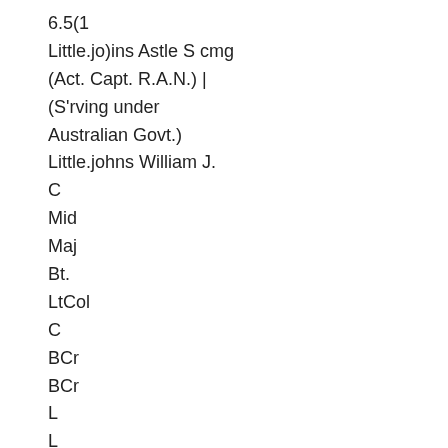6.5(1
Little.jo)ins Astle S cmg
(Act. Capt. R.A.N.) |
(S'rving under Australian Govt.)
Little.johns William J.
C
Mid
Maj
Bt.
LtCol
C
BCr
BCr
L
L
Mate
L
Cr
WW